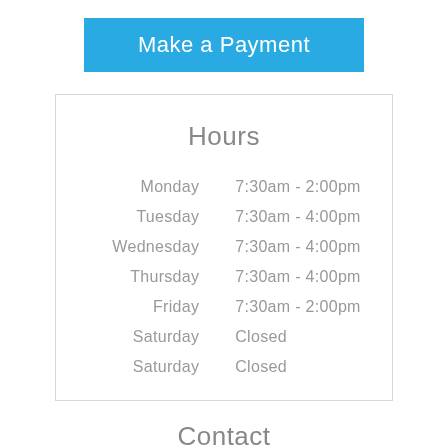Make a Payment
Hours
| Day | Hours |
| --- | --- |
| Monday | 7:30am - 2:00pm |
| Tuesday | 7:30am - 4:00pm |
| Wednesday | 7:30am - 4:00pm |
| Thursday | 7:30am - 4:00pm |
| Friday | 7:30am - 2:00pm |
| Saturday | Closed |
| Saturday | Closed |
Contact